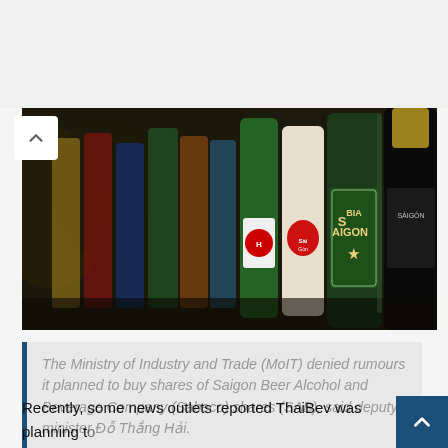[Figure (photo): A row of beer bottles, including Saigon Beer (SAIGON label visible) and other beer bottles in green and dark glass, arranged in a line with a dark, blurred background.]
The Ministry of Industry and Trade (MoIT) denied rumours it planned to buy shares of Saigon Beer Alcohol and Beverage Company (Sabeco) shares (SAB), said deputy minister Đỗ Thắng Hải.
Recently, some news outlets reported ThaiBev was planning to beer producer Sabeco and the ministry could buy the firm at a price